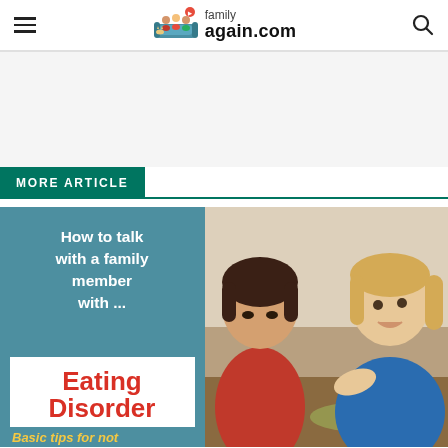family again.com
MORE ARTICLE
[Figure (infographic): Article card: 'How to talk with a family member with ... Eating Disorder – Basic tips for not' with photo of two women at dinner table, one in red top looking down, one in blue gesturing]
How to talk with a family member with ...
Eating Disorder
Basic tips for not